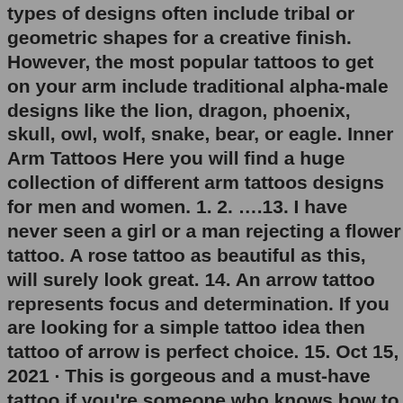types of designs often include tribal or geometric shapes for a creative finish. However, the most popular tattoos to get on your arm include traditional alpha-male designs like the lion, dragon, phoenix, skull, owl, wolf, snake, bear, or eagle. Inner Arm Tattoos Here you will find a huge collection of different arm tattoos designs for men and women. 1. 2. ….13. I have never seen a girl or a man rejecting a flower tattoo. A rose tattoo as beautiful as this, will surely look great. 14. An arrow tattoo represents focus and determination. If you are looking for a simple tattoo idea then tattoo of arrow is perfect choice. 15. Oct 15, 2021 · This is gorgeous and a must-have tattoo if you're someone who knows how to express your beliefs and you want others to understand your faith. Angels are bringers of good luck and happiness. This tattoo will show off your sentimental side as well. Go for it if you're someone who believes in faith and new beginnings. 6. This tattoo consists of a proper colored ink sunflower with a stem inside a black outlined diamond. The diamond represents...